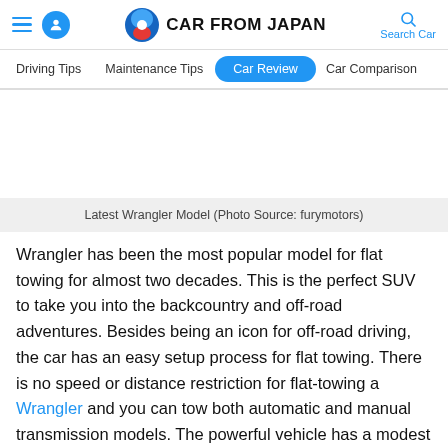CAR FROM JAPAN — Driving Tips | Maintenance Tips | Car Review | Car Comparison
Latest Wrangler Model (Photo Source: furymotors)
Wrangler has been the most popular model for flat towing for almost two decades. This is the perfect SUV to take you into the backcountry and off-road adventures. Besides being an icon for off-road driving, the car has an easy setup process for flat towing. There is no speed or distance restriction for flat-towing a Wrangler and you can tow both automatic and manual transmission models. The powerful vehicle has a modest size, which is ideal for towing behind